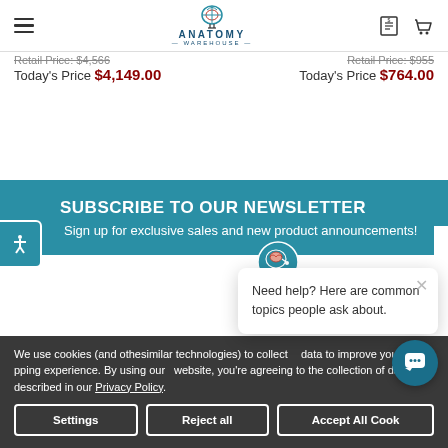Anatomy Warehouse
Retail Price: $4,566
Today's Price $4,149.00
Today's Price $764.00
SUBSCRIBE TO OUR NEWSLETTER
Sign up for exclusive sales and new product announcements!
We use cookies (and other similar technologies) to collect data to improve your shopping experience. By using our website, you're agreeing to the collection of data as described in our Privacy Policy.
Need help? Here are common topics people ask about.